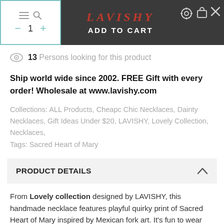[Figure (screenshot): E-commerce page header with quantity selector box (minus, 1, plus), LAVISHY brand name, ADD TO CART button, gear and cart icons on dark background]
13 Persons looking for this product
Ship world wide since 2002. FREE Gift with every order! Wholesale at www.lavishy.com
Collections: ALL Products, Cheapc Chic Necklaces, Dainty Necklaces, Gift Ideas Under $20, LAVISHY, Lovely Collection, Necklaces,
Tags: Sacred Heart of Mary
PRODUCT DETAILS
From Lovely collection designed by LAVISHY, this handmade necklace features playful quirky print of Sacred Heart of Mary inspired by Mexican fork art. It's fun to wear also make a playful gift for your family and friends. Each necklace